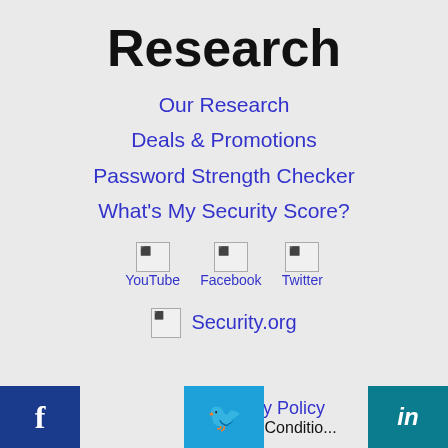Research
Our Research
Deals & Promotions
Password Strength Checker
What's My Security Score?
[Figure (illustration): Social media icons for YouTube, Facebook, and Twitter with broken image placeholders]
[Figure (logo): Security.org logo with broken image placeholder]
[Figure (infographic): Footer with Facebook, Twitter, and LinkedIn social buttons and Privacy Policy and Terms & Conditions links]